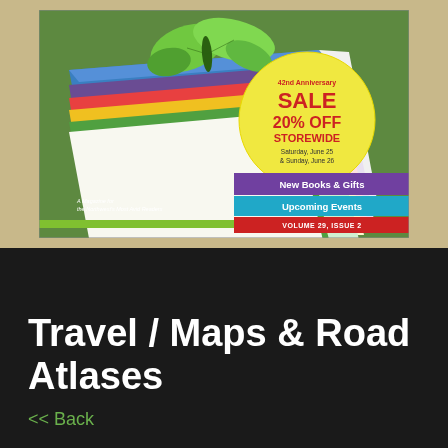[Figure (illustration): Magazine cover showing stacked colorful books with a butterfly, sale announcement circle (42nd Anniversary SALE 20% OFF STOREWIDE Saturday June 25 & Sunday June 26), purple bar (New Books & Gifts), blue bar (Upcoming Events), red bar (VOLUME 29, ISSUE 2), and small text 'A Magazine for the Northwest's Most Avid Readers']
Travel / Maps & Road Atlases
<< Back